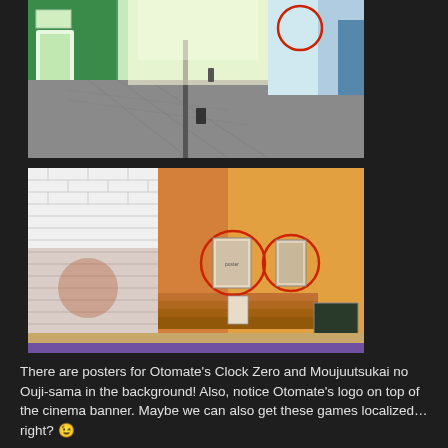[Figure (screenshot): Anime-style street scene with green tinted buildings. A red circle is drawn near the upper right highlighting a cinema banner or poster. The street has brick paving, poles, and a trash can.]
[Figure (screenshot): Anime-style building exterior with orange/warm tinted walls and white brick corner. Two red circles highlight posters on the wall. A chalkboard sign is visible on the right.]
There are posters for Otomate’s Clock Zero and Moujuutsukai no Ouji-sama in the background! Also, notice Otomate’s logo on top of the cinema banner. Maybe we can also get these games localized…right? 😉